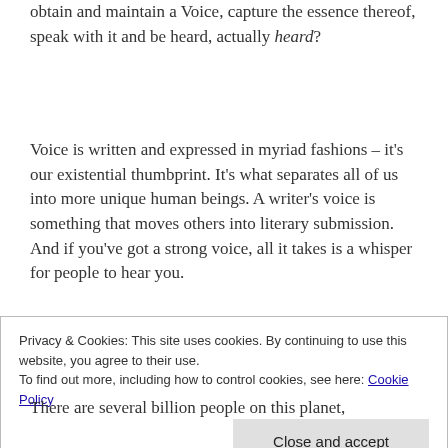obtain and maintain a Voice, capture the essence thereof, speak with it and be heard, actually heard?
Voice is written and expressed in myriad fashions – it's our existential thumbprint. It's what separates all of us into more unique human beings. A writer's voice is something that moves others into literary submission. And if you've got a strong voice, all it takes is a whisper for people to hear you.
Privacy & Cookies: This site uses cookies. By continuing to use this website, you agree to their use. To find out more, including how to control cookies, see here: Cookie Policy
There are several billion people on this planet,